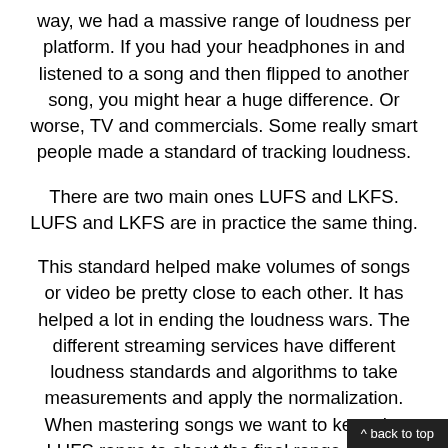way, we had a massive range of loudness per platform. If you had your headphones in and listened to a song and then flipped to another song, you might hear a huge difference. Or worse, TV and commercials. Some really smart people made a standard of tracking loudness.
There are two main ones LUFS and LKFS. LUFS and LKFS are in practice the same thing.
This standard helped make volumes of songs or video be pretty close to each other. It has helped a lot in ending the loudness wars. The different streaming services have different loudness standards and algorithms to take measurements and apply the normalization. When mastering songs we want to keep the LUFS range to about the final range by that particular streaming service. Otherwise, if we go over then the service might lower the volume to ge